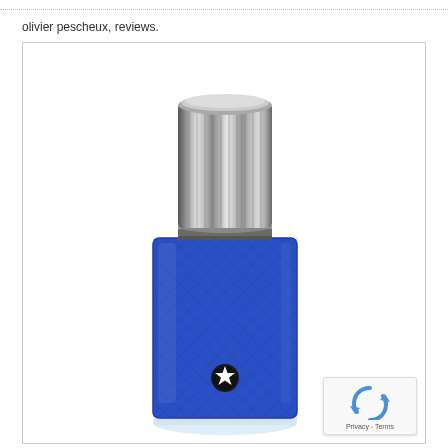olivier pescheux, reviews.
[Figure (photo): Montblanc Explorer Ultra Blue eau de parfum bottle with royal blue leather-textured body, silver ribbed cap, and Montblanc star emblem on the front. The bottle is cylindrical with a transparent glass base.]
[Figure (logo): reCAPTCHA widget with rotating arrows logo and 'Privacy - Terms' text]